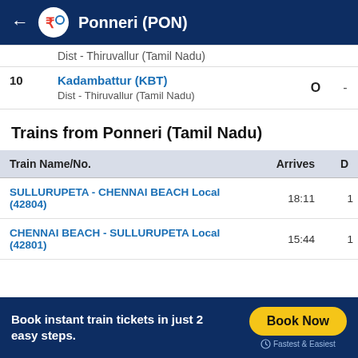Ponneri (PON)
| # | Station | O | - |
| --- | --- | --- | --- |
|  | Dist - Thiruvallur (Tamil Nadu) |  |  |
| 10 | Kadambattur (KBT)
Dist - Thiruvallur (Tamil Nadu) | O | - |
Trains from Ponneri (Tamil Nadu)
| Train Name/No. | Arrives | D |
| --- | --- | --- |
| SULLURUPETA - CHENNAI BEACH Local (42804) | 18:11 | 1 |
| CHENNAI BEACH - SULLURUPETA Local (42801) | 15:44 | 1 |
Book instant train tickets in just 2 easy steps.